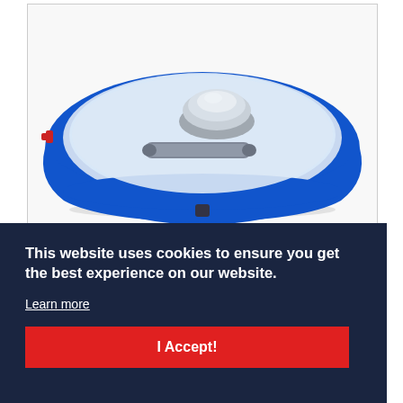[Figure (photo): Blue circular carousel rotating table / conveyor with a silver dome-shaped component and cylindrical roller in the center, viewed from above at an angle. The table has a blue metal rim and a light-colored flat surface.]
This website uses cookies to ensure you get the best experience on our website.
Learn more
I Accept!
Carousel Rotating Table
Improved carousel rotating tables that can be purchased and are created at the customer's measure. The circular table offers greater access to the goods, allowing multiple carts in a condensed area, and provides space for more operators to transfer goods to